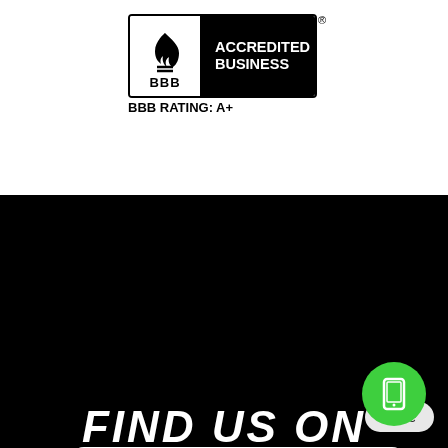[Figure (logo): BBB Accredited Business logo with black and white design]
BBB RATING: A+
[Figure (screenshot): Website screenshot showing FIND US ON heading with chat bubble popup saying Hello! Thank you for contacting Advanced. How can we help? with close button, Facebook icon, and green phone button]